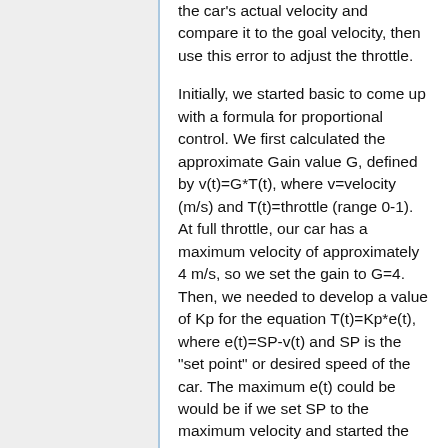the car's actual velocity and compare it to the goal velocity, then use this error to adjust the throttle.
Initially, we started basic to come up with a formula for proportional control. We first calculated the approximate Gain value G, defined by v(t)=G*T(t), where v=velocity (m/s) and T(t)=throttle (range 0-1). At full throttle, our car has a maximum velocity of approximately 4 m/s, so we set the gain to G=4. Then, we needed to develop a value of Kp for the equation T(t)=Kp*e(t), where e(t)=SP-v(t) and SP is the "set point" or desired speed of the car. The maximum e(t) could be would be if we set SP to the maximum velocity and started the car from rest, in which case e(t)=4 m/s. Therefore, in order to not exceed a throttle of 1, we set Kp=1/4, which